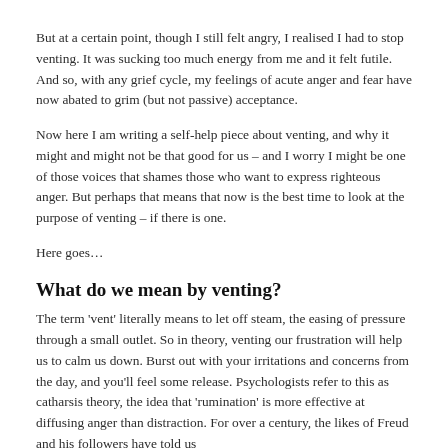But at a certain point, though I still felt angry, I realised I had to stop venting. It was sucking too much energy from me and it felt futile. And so, with any grief cycle, my feelings of acute anger and fear have now abated to grim (but not passive) acceptance.
Now here I am writing a self-help piece about venting, and why it might and might not be that good for us – and I worry I might be one of those voices that shames those who want to express righteous anger. But perhaps that means that now is the best time to look at the purpose of venting – if there is one.
Here goes…
What do we mean by venting?
The term 'vent' literally means to let off steam, the easing of pressure through a small outlet. So in theory, venting our frustration will help us to calm us down. Burst out with your irritations and concerns from the day, and you'll feel some release. Psychologists refer to this as catharsis theory, the idea that 'rumination' is more effective at diffusing anger than distraction. For over a century, the likes of Freud and his followers have told us